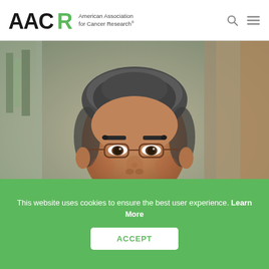AACR American Association for Cancer Research
[Figure (photo): Professional headshot of a middle-aged man with dark gray hair wearing glasses, a black blazer, and a green shirt, smiling slightly, with a blurred bookshelf background.]
This website uses cookies to ensure the best user experience. Learn More
ACCEPT